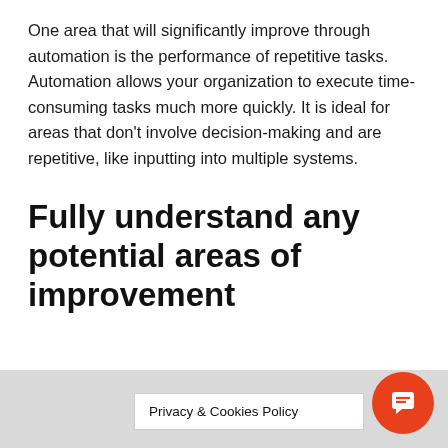One area that will significantly improve through automation is the performance of repetitive tasks. Automation allows your organization to execute time-consuming tasks much more quickly. It is ideal for areas that don't involve decision-making and are repetitive, like inputting into multiple systems.
Fully understand any potential areas of improvement
Privacy & Cookies Policy